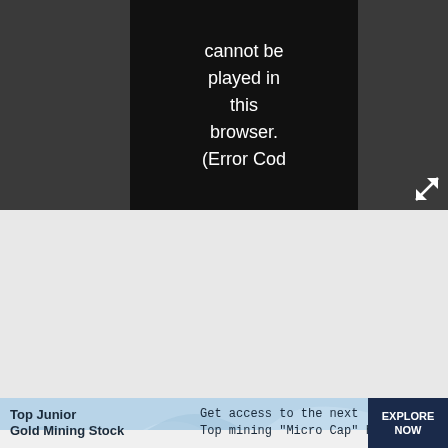[Figure (screenshot): Video player area with dark gray background. A black video player box in the center shows an error message in white text: 'cannot be played in this browser. (Error Cod'. An expand/fullscreen icon (arrow) appears at the bottom right of the player area.]
cannot be played in this browser. (Error Cod
[Figure (infographic): Advertisement banner with light blue background featuring wave design. Left side shows bold dark text 'Top Junior Gold Mining Stock'. Center text reads 'Get access to the next Top mining "Micro Cap" here!' in monospace font. Right side has a dark navy button with 'EXPLORE NOW' in white. A small circular close button appears at top right.]